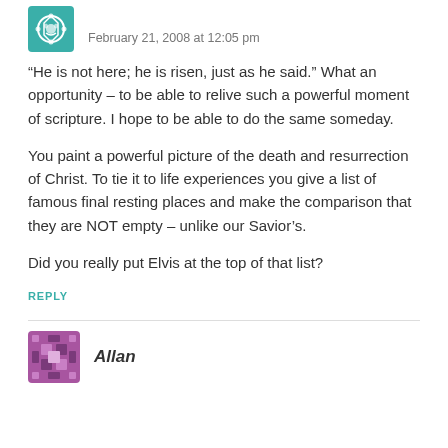[Figure (illustration): Teal decorative avatar icon (geometric/floral pattern)]
February 21, 2008 at 12:05 pm
“He is not here; he is risen, just as he said.” What an opportunity – to be able to relive such a powerful moment of scripture. I hope to be able to do the same someday.
You paint a powerful picture of the death and resurrection of Christ. To tie it to life experiences you give a list of famous final resting places and make the comparison that they are NOT empty – unlike our Savior’s.
Did you really put Elvis at the top of that list?
REPLY
[Figure (illustration): Purple decorative avatar icon (geometric/diamond pattern)]
Allan